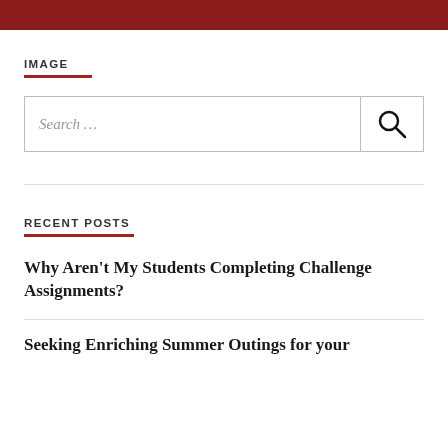IMAGE
[Figure (other): Search box with text 'Search ...' and a magnifying glass icon button]
RECENT POSTS
Why Aren't My Students Completing Challenge Assignments?
Seeking Enriching Summer Outings for your